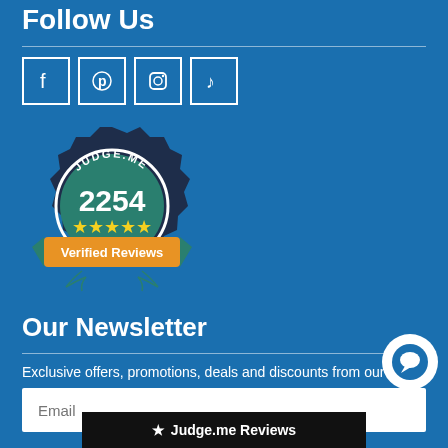Follow Us
[Figure (infographic): Four social media icon boxes in a row: Facebook (f), Pinterest, Instagram, TikTok]
[Figure (infographic): Judge.me badge showing 2254 Verified Reviews with 5 stars]
Our Newsletter
Exclusive offers, promotions, deals and discounts from our store
Email (input field)
★ Judge.me Reviews